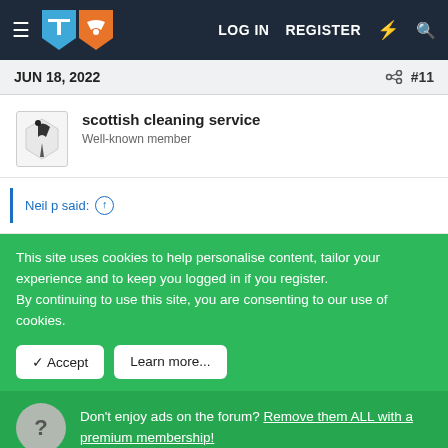LOG IN  REGISTER
JUN 18, 2022  #11
scottish cleaning service
Well-known member
Neil p said:
This site uses cookies to help personalise content, tailor your experience and to keep you logged in if you register.
By continuing to use this site, you are consenting to our use of cookies.
✓ Accept  Learn more...
Don't enjoy ads on the forum? Remove them ALL with a premium membership!